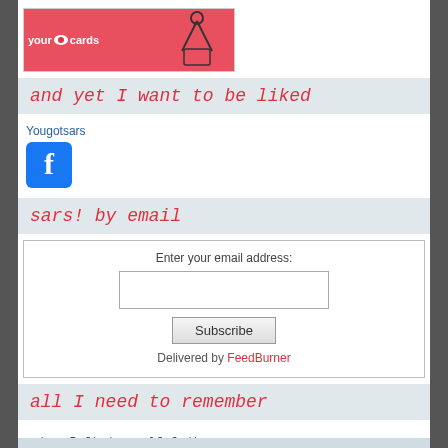[Figure (photo): ecard image with pink/red background showing 'your e cards someecards.com' logo and a small cartoon figure at a computer]
and yet I want to be liked
Yougotsars
[Figure (logo): Facebook logo icon - blue square with white F]
sars! by email
Enter your email address:
Subscribe
Delivered by FeedBurner
all I need to remember
~when I find myself fading
I close my eyes and realize
my friends are my energy...